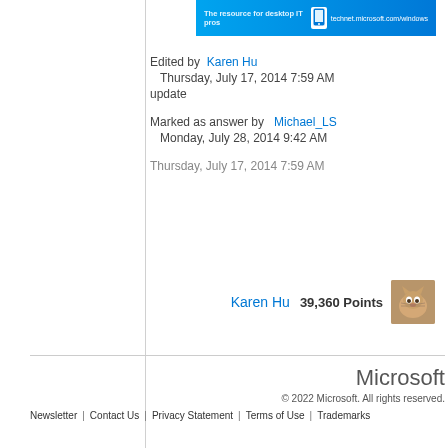[Figure (infographic): Microsoft TechNet banner: 'The resource for desktop IT pros' with a mobile device icon and 'technet.microsoft.com/windows' text on blue gradient background]
Edited by  Karen Hu
  Thursday, July 17, 2014 7:59 AM
update
Marked as answer by   Michael_LS
  Monday, July 28, 2014 9:42 AM
Thursday, July 17, 2014 7:59 AM
Karen Hu   39,360 Points
Microsoft
© 2022 Microsoft. All rights reserved.
Newsletter  |  Contact Us  |  Privacy Statement  |  Terms of Use  |  Trademarks